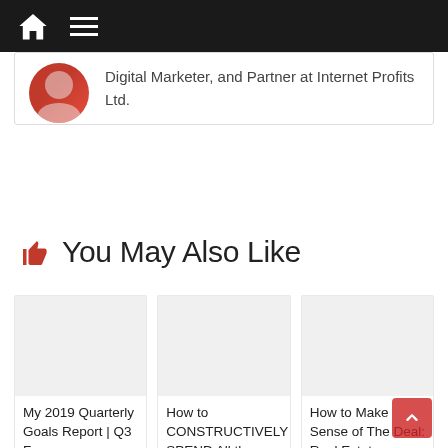Navigation bar with home icon and menu icon
Digital Marketer, and Partner at Internet Profits Ltd.
You May Also Like
[Figure (photo): Blank/placeholder card image for My 2019 Quarterly Goals Report | Q3 For]
My 2019 Quarterly Goals Report | Q3 For
[Figure (photo): Blank/placeholder card image for How to CONSTRUCTIVELY SPEND All the EXTRA]
How to CONSTRUCTIVELY SPEND All the EXTRA
[Figure (photo): Blank/placeholder card image for How to Make Sense of The Deal: Real Estate]
How to Make Sense of The Deal: Real Estate